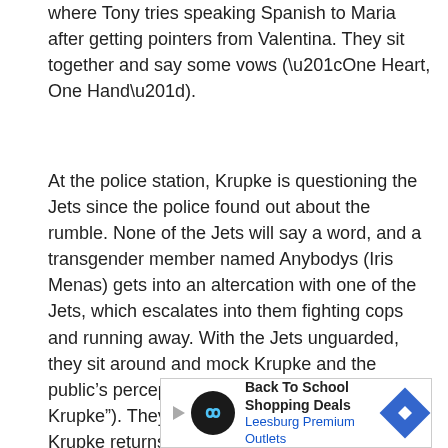where Tony tries speaking Spanish to Maria after getting pointers from Valentina. They sit together and say some vows (“One Heart, One Hand”).
At the police station, Krupke is questioning the Jets since the police found out about the rumble. None of the Jets will say a word, and a transgender member named Anybodys (Iris Menas) gets into an altercation with one of the Jets, which escalates into them fighting cops and running away. With the Jets unguarded, they sit around and mock Krupke and the public’s perception of them (“Gee, Officer Krupke”). They trash the station and flee once Krupke returns.
[Figure (other): Advertisement banner: Back To School Shopping Deals - Leesburg Premium Outlets, with a play button icon, circular logo with infinity-like symbol, and a blue diamond-shaped navigation arrow.]